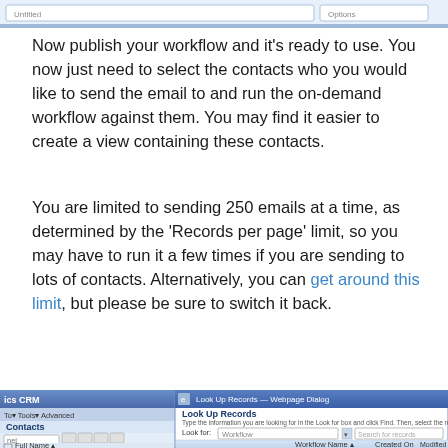[Figure (screenshot): Top portion of a CRM software screenshot showing a form with input fields]
Now publish your workflow and it’s ready to use. You now just need to select the contacts who you would like to send the email to and run the on-demand workflow against them. You may find it easier to create a view containing these contacts.
You are limited to sending 250 emails at a time, as determined by the ‘Records per page’ limit, so you may have to run it a few times if you are sending to lots of contacts. Alternatively, you can get around this limit, but please be sure to switch it back.
[Figure (screenshot): Screenshot of Dynamics CRM showing Contacts panel on the left and a Look Up Records Webpage Dialog on the right, with a workflow named 'Send email template' created and modified on 02/08/2010 by Neil McDonald]